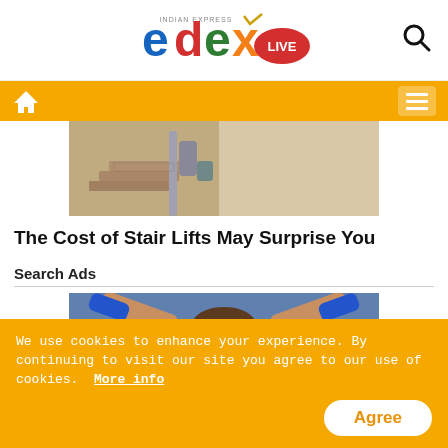[Figure (logo): edexLIVE logo from Indian Express, with colorful letters e(blue), d(red), e(green), x(orange/yellow) and LIVE in red badge, with Indian Express text above]
[Figure (photo): Navigation bar with orange background, home icon on left, hamburger menu icon on right]
[Figure (photo): Photo of staircase with stairlift rail on the side, person on stairs visible from waist down]
The Cost of Stair Lifts May Surprise You
Search Ads
[Figure (photo): Photo of a woman looking up with hands raised, wearing blue gloves]
We use cookies to enhance your experience. By continuing to visit our site you agree to our use of cookies. More info